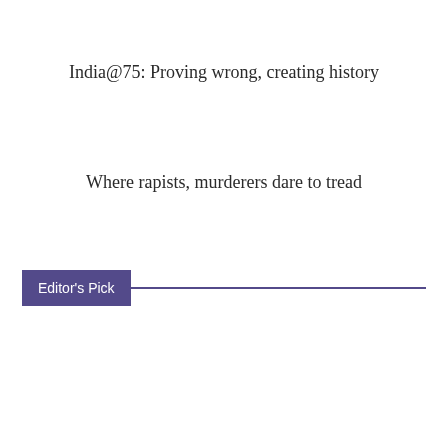India@75: Proving wrong, creating history
Where rapists, murderers dare to tread
Editor's Pick